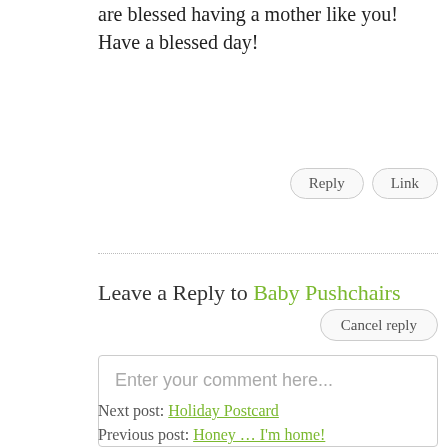are blessed having a mother like you! Have a blessed day!
Reply   Link
Leave a Reply to Baby Pushchairs
Cancel reply
Enter your comment here...
Next post: Holiday Postcard
Previous post: Honey … I'm home!